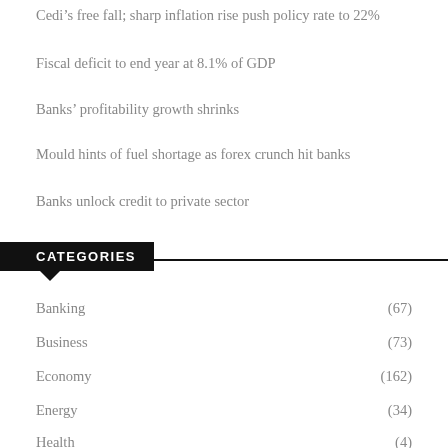Cedi’s free fall; sharp inflation rise push policy rate to 22%
Fiscal deficit to end year at 8.1% of GDP
Banks’ profitability growth shrinks
Mould hints of fuel shortage as forex crunch hit banks
Banks unlock credit to private sector
CATEGORIES
Banking (67)
Business (73)
Economy (162)
Energy (34)
Health (4)